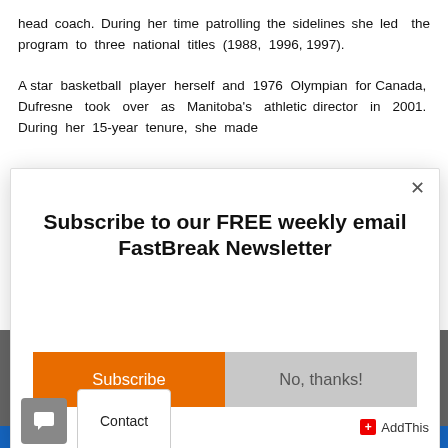head coach. During her time patrolling the sidelines she led the program to three national titles (1988, 1996, 1997).
A star basketball player herself and 1976 Olympian for Canada, Dufresne took over as Manitoba's athletic director in 2001. During her 15-year tenure, she made
[Figure (screenshot): Modal popup overlay with subscribe call-to-action. Contains close button (×), heading 'Subscribe to our FREE weekly email FastBreak Newsletter', an orange 'Subscribe' button and a grey 'No, thanks!' button, plus a chat icon, Contact button, and AddThis branding at the bottom.]